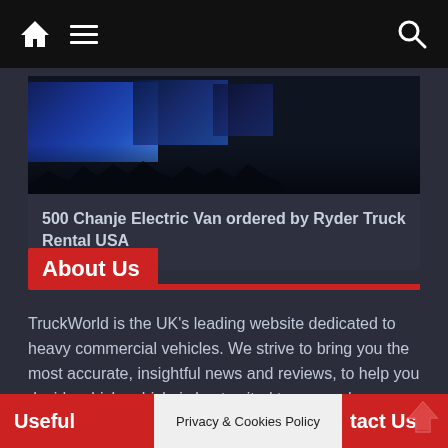TruckWorld navigation bar with home, menu, and search icons
[Figure (photo): Photo of electric truck presentation event with blue-lit screens showing trucks and audience silhouettes in foreground]
500 Chanje Electric Van ordered by Ryder Truck Rental USA
About Us
TruckWorld is the UK's leading website dedicated to heavy commercial vehicles. We strive to bring you the most accurate, insightful news and reviews, to help you decide which vehicle is best suited to you and your business.
Useful | Privacy & Cookies Policy | tact Us